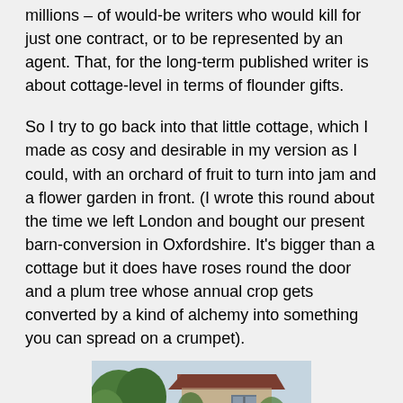millions – of would-be writers who would kill for just one contract, or to be represented by an agent. That, for the long-term published writer is about cottage-level in terms of flounder gifts.
So I try to go back into that little cottage, which I made as cosy and desirable in my version as I could, with an orchard of fruit to turn into jam and a flower garden in front. (I wrote this round about the time we left London and bought our present barn-conversion in Oxfordshire. It's bigger than a cottage but it does have roses round the door and a plum tree whose annual crop gets converted by a kind of alchemy into something you can spread on a crumpet).
[Figure (illustration): A pastoral painting showing figures in a cottage garden with an old stone building in the background, flowering plants in the foreground, and figures including a woman with red hair and a child near a doorway.]